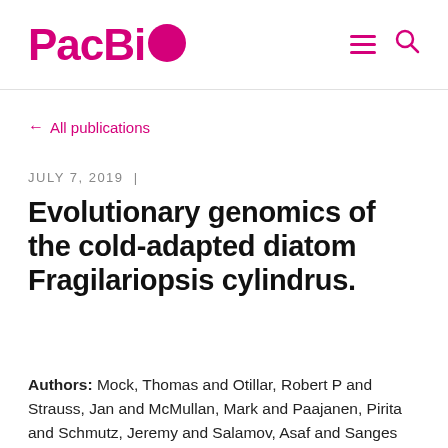PacBio
← All publications
JULY 7, 2019  |
Evolutionary genomics of the cold-adapted diatom Fragilariopsis cylindrus.
Authors: Mock, Thomas and Otillar, Robert P and Strauss, Jan and McMullan, Mark and Paajanen, Pirita and Schmutz, Jeremy and Salamov, Asaf and Sanges